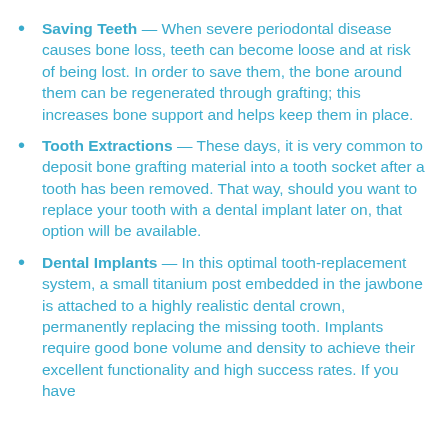Saving Teeth — When severe periodontal disease causes bone loss, teeth can become loose and at risk of being lost. In order to save them, the bone around them can be regenerated through grafting; this increases bone support and helps keep them in place.
Tooth Extractions — These days, it is very common to deposit bone grafting material into a tooth socket after a tooth has been removed. That way, should you want to replace your tooth with a dental implant later on, that option will be available.
Dental Implants — In this optimal tooth-replacement system, a small titanium post embedded in the jawbone is attached to a highly realistic dental crown, permanently replacing the missing tooth. Implants require good bone volume and density to achieve their excellent functionality and high success rates. If you have